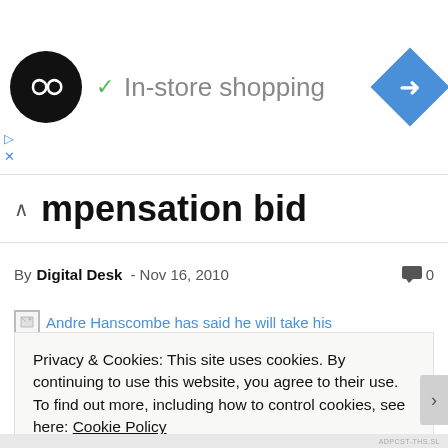[Figure (screenshot): Ad banner with dark circular logo containing double-infinity symbol, checkmark and 'In-store shopping' text in grey, and blue navigation diamond arrow icon on the right]
mpensation bid
By Digital Desk - Nov 16, 2010   💬 0
Andre Hanscombe has said he will take his
Privacy & Cookies: This site uses cookies. By continuing to use this website, you agree to their use.
To find out more, including how to control cookies, see here: Cookie Policy
Close and accept